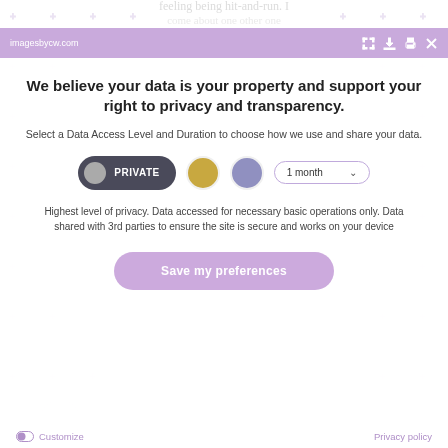imagesbycw.com
We believe your data is your property and support your right to privacy and transparency.
Select a Data Access Level and Duration to choose how we use and share your data.
[Figure (screenshot): Privacy consent UI with PRIVATE toggle button, gold circle, purple circle, and 1 month dropdown selector]
Highest level of privacy. Data accessed for necessary basic operations only. Data shared with 3rd parties to ensure the site is secure and works on your device
Save my preferences
Customize
Privacy policy